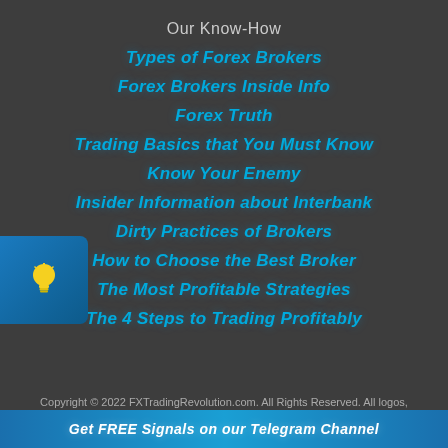Our Know-How
Types of Forex Brokers
Forex Brokers Inside Info
Forex Truth
Trading Basics that You Must Know
Know Your Enemy
Insider Information about Interbank
Dirty Practices of Brokers
How to Choose the Best Broker
The Most Profitable Strategies
The 4 Steps to Trading Profitably
Copyright © 2022 FXTradingRevolution.com. All Rights Reserved. All logos,
Get FREE Signals on our Telegram Channel